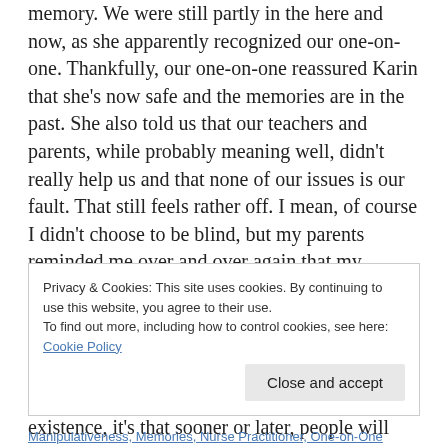memory. We were still partly in the here and now, as she apparently recognized our one-on-one. Thankfully, our one-on-one reassured Karin that she's now safe and the memories are in the past. She also told us that our teachers and parents, while probably meaning well, didn't really help us and that none of our issues is our fault. That still feels rather off. I mean, of course I didn't choose to be blind, but my parents reminded me over and over again that my behavior was definitely a choice. They always saw (and maybe still see) me as one giant manipulator, not an autistic, multiply-disabled trauma survivor. And they're not the only ones. If I've learned one thing in my nearly 35 years of existence, it's that sooner or later, people will always come to the conclusion that I'm one giant
Privacy & Cookies: This site uses cookies. By continuing to use this website, you agree to their use.
To find out more, including how to control cookies, see here: Cookie Policy
Close and accept
Manipulativeness, Memories, Nurse Practitioner, One-on-One